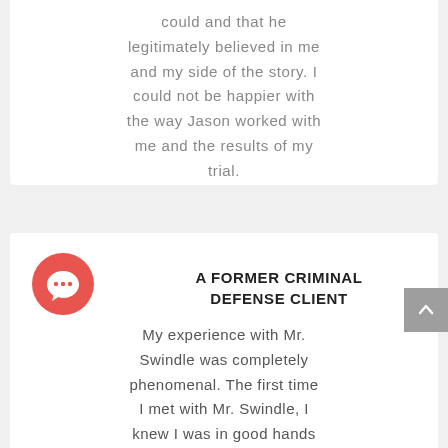could and that he legitimately believed in me and my side of the story. I could not be happier with the way Jason worked with me and the results of my trial.
[Figure (illustration): Red circle icon with white speech/comment bubble symbol]
A FORMER CRIMINAL DEFENSE CLIENT
My experience with Mr. Swindle was completely phenomenal. The first time I met with Mr. Swindle, I knew I was in good hands